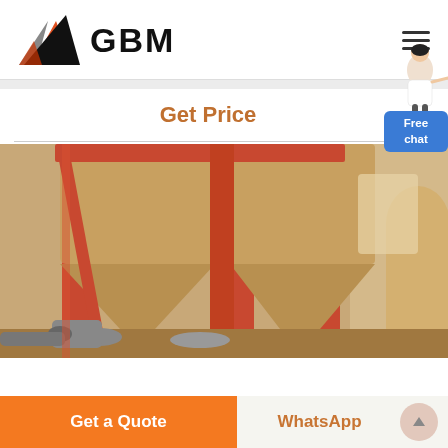GBM
Get Price
[Figure (photo): Industrial powder processing equipment — tall orange/red hopper silos with conical bases and cylindrical yellow/beige tanks inside a factory building]
Free chat
Get a Quote
WhatsApp